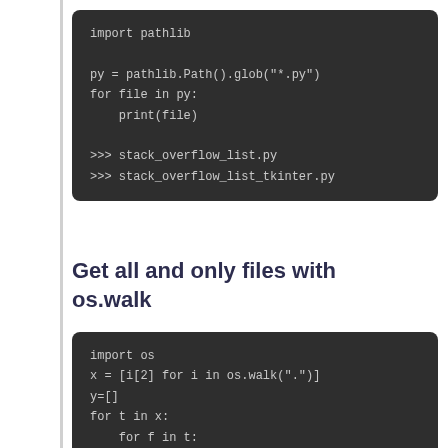[Figure (screenshot): Dark-themed code block showing pathlib glob usage and output: import pathlib, py = pathlib.Path().glob("*.py"), for file in py: print(file), >>> stack_overflow_list.py, >>> stack_overflow_list_tkinter.py]
Get all and only files with os.walk
[Figure (screenshot): Dark-themed code block showing os.walk usage: import os, x = [i[2] for i in os.walk(".")], y=[], for t in x: for f in t: y.append(f), print(y)]